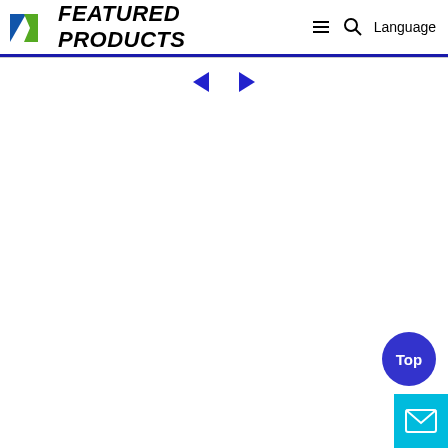FEATURED PRODUCTS  Language
[Figure (illustration): Navigation left and right arrow buttons in blue]
[Figure (illustration): Blue circular 'Top' button and cyan square mail/envelope button in bottom right corner]